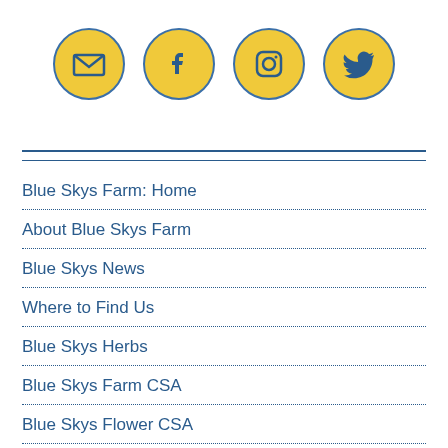[Figure (illustration): Four yellow circular social media icons in a row: email/envelope, Facebook, Instagram, Twitter]
Blue Skys Farm: Home
About Blue Skys Farm
Blue Skys News
Where to Find Us
Blue Skys Herbs
Blue Skys Farm CSA
Blue Skys Flower CSA